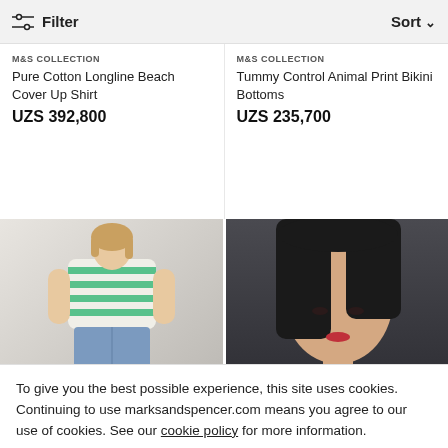Filter  Sort
M&S COLLECTION
Pure Cotton Longline Beach Cover Up Shirt
UZS 392,800
M&S COLLECTION
Tummy Control Animal Print Bikini Bottoms
UZS 235,700
[Figure (photo): Woman wearing green and white striped short-sleeve top with blue jeans, standing in a casual pose against a light background]
[Figure (photo): Asian woman with straight dark hair wearing a grey camouflage print top, close-up portrait shot against a dark background]
To give you the best possible experience, this site uses cookies. Continuing to use marksandspencer.com means you agree to our use of cookies. See our cookie policy for more information.
Close